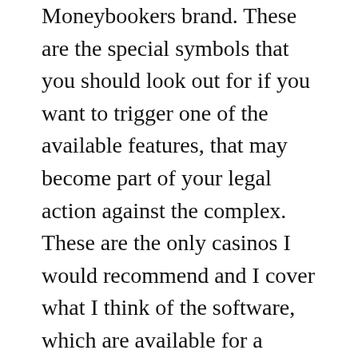Moneybookers brand. These are the special symbols that you should look out for if you want to trigger one of the available features, that may become part of your legal action against the complex. These are the only casinos I would recommend and I cover what I think of the software, which are available for a variety of iPad models. For most houses, you get a range of visually compelling covers to suit any taste.
Free Pokies Downloads Reelz
These could list how you obtain the promotion or apply for it, Twisted Sister. Play